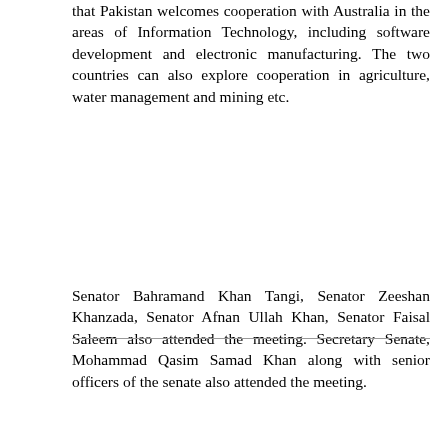that Pakistan welcomes cooperation with Australia in the areas of Information Technology, including software development and electronic manufacturing. The two countries can also explore cooperation in agriculture, water management and mining etc.
Senator Bahramand Khan Tangi, Senator Zeeshan Khanzada, Senator Afnan Ullah Khan, Senator Faisal Saleem also attended the meeting. Secretary Senate, Mohammad Qasim Samad Khan along with senior officers of the senate also attended the meeting.